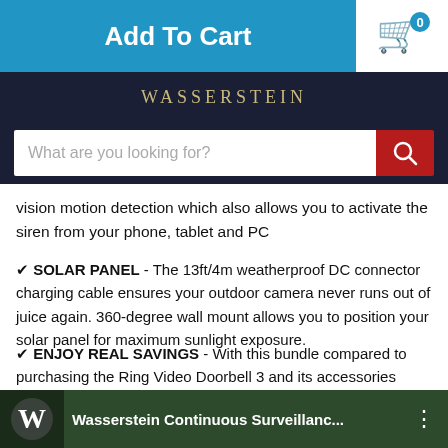Add To Cart
[Figure (other): Shopping cart icon with badge showing 0]
[Figure (logo): Wasserstein brand name in serif gold letters on dark navy background]
[Figure (screenshot): Search bar with placeholder 'What are you looking for?' and red search button]
vision motion detection which also allows you to activate the siren from your phone, tablet and PC
✔ SOLAR PANEL - The 13ft/4m weatherproof DC connector charging cable ensures your outdoor camera never runs out of juice again. 360-degree wall mount allows you to position your solar panel for maximum sunlight exposure.
✔ ENJOY REAL SAVINGS - With this bundle compared to purchasing the Ring Video Doorbell 3 and its accessories separately. Realize huge savings vs retail price plus lifetime customer support for products Made by Wasserstein.
[Figure (screenshot): Video thumbnail showing Wasserstein Continuous Surveillanc... with W logo on dark outdoor background]